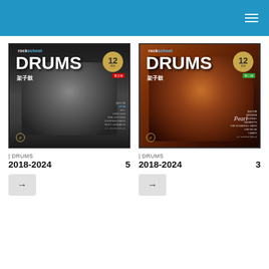[Figure (photo): Rockschool DRUMS 架子鼓 Grade 5 book cover (2018-2024), black and white photo of drummer playing, red border stripe]
| DRUMS
2018-2024  5
[Figure (photo): Rockschool DRUMS 架子鼓 Grade 3 book cover (2018-2024), color photo of drummer playing with warm orange lighting, green border stripe]
| DRUMS
2018-2024  3